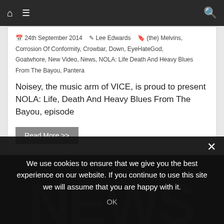Navigation bar with home icon, menu icon, and search icon
24th September 2014   Lee Edwards   (the) Melvins, Corrosion Of Conformity, Crowbar, Down, EyeHateGod, Goatwhore, New Video, News, NOLA: Life Death And Heavy Blues From The Bayou, Pantera
Noisey, the music arm of VICE, is proud to present NOLA: Life, Death And Heavy Blues From The Bayou, episode
Read More >>
We use cookies to ensure that we give you the best experience on our website. If you continue to use this site we will assume that you are happy with it.
OK
[Figure (other): Dark background section with large stylized 'NEWS' text in distressed font]